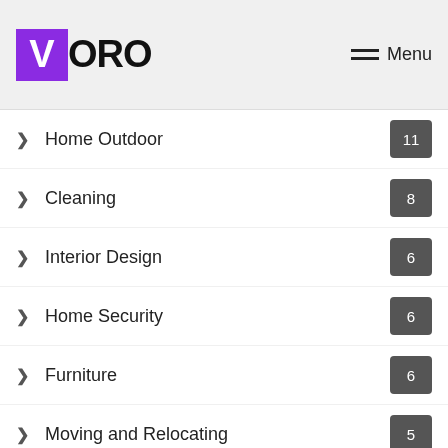VORO Menu
Home Outdoor 11
Cleaning 8
Interior Design 6
Home Security 6
Furniture 6
Moving and Relocating 5
Style 5
DIY 4
Blogging 4
Real Estate 4
Featured .
Decorate 3